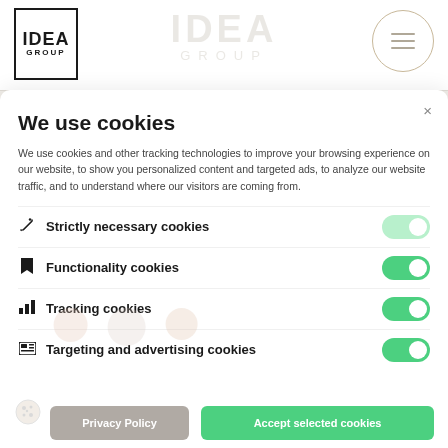[Figure (logo): IDEA GROUP logo in black box at top left]
[Figure (logo): IDEA GROUP watermark logo in center header]
[Figure (other): Hamburger menu inside a circle at top right]
We use cookies
We use cookies and other tracking technologies to improve your browsing experience on our website, to show you personalized content and targeted ads, to analyze our website traffic, and to understand where our visitors are coming from.
Strictly necessary cookies
Functionality cookies
Tracking cookies
Targeting and advertising cookies
Privacy Policy
Accept selected cookies